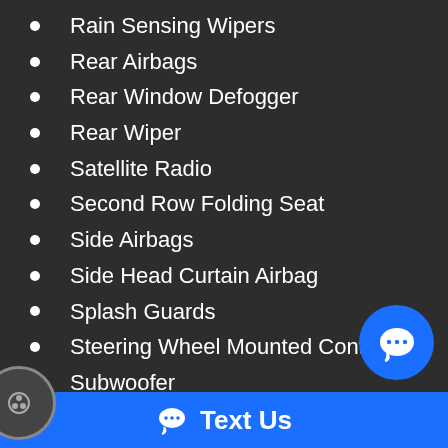Rain Sensing Wipers
Rear Airbags
Rear Window Defogger
Rear Wiper
Satellite Radio
Second Row Folding Seat
Side Airbags
Side Head Curtain Airbag
Splash Guards
Steering Wheel Mounted Controls
Subwoofer
Sun Roof
Tachometer
Telematics System
Tilt Steering
Tilt Steering Column
Tire Pressure Monitor
Text Us